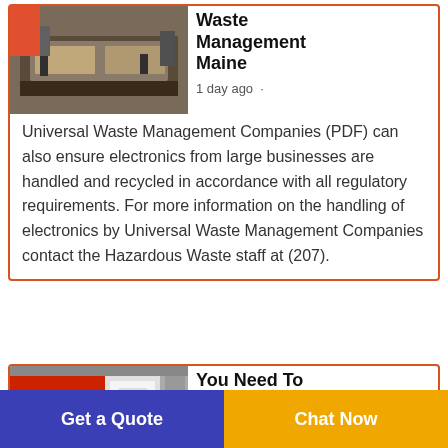[Figure (photo): Industrial recycling machinery in a warehouse setting]
Waste Management Maine
1 day ago · Universal Waste Management Companies (PDF) can also ensure electronics from large businesses are handled and recycled in accordance with all regulatory requirements. For more information on the handling of electronics by Universal Waste Management Companies contact the Hazardous Waste staff at (207).
[Figure (photo): Red industrial shredding or recycling machine in a factory]
You Need To Recycle Old Electronics
Get a Quote
Chat Now